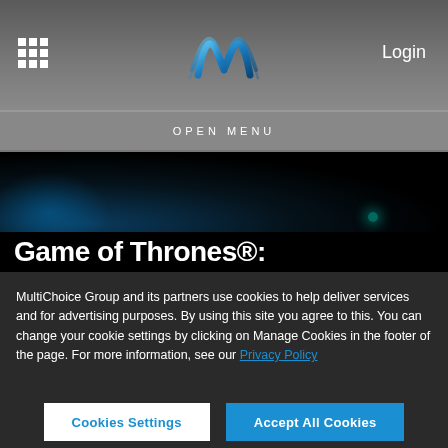Login
OPEN MENU
Game of Thrones®:
MultiChoice Group and its partners use cookies to help deliver services and for advertising purposes. By using this site you agree to this. You can change your cookie settings by clicking on Manage Cookies in the footer of the page. For more information, see our Privacy Policy
Cookies Settings
Accept All Cookies